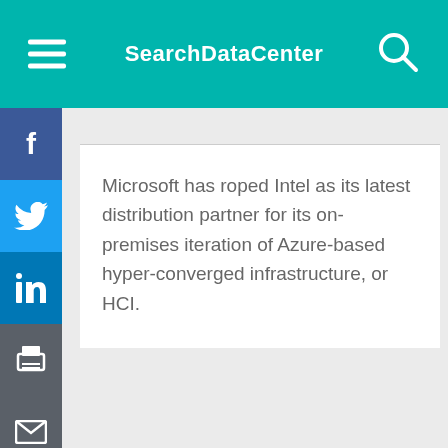SearchDataCenter
Microsoft has roped Intel as its latest distribution partner for its on-premises iteration of Azure-based hyper-converged infrastructure, or HCI.